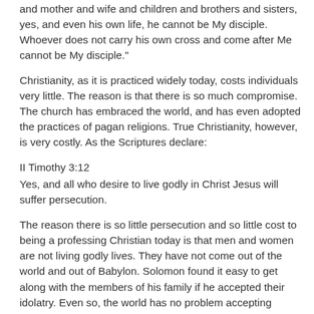and mother and wife and children and brothers and sisters, yes, and even his own life, he cannot be My disciple. Whoever does not carry his own cross and come after Me cannot be My disciple."
Christianity, as it is practiced widely today, costs individuals very little. The reason is that there is so much compromise. The church has embraced the world, and has even adopted the practices of pagan religions. True Christianity, however, is very costly. As the Scriptures declare:
II Timothy 3:12
Yes, and all who desire to live godly in Christ Jesus will suffer persecution.
The reason there is so little persecution and so little cost to being a professing Christian today is that men and women are not living godly lives. They have not come out of the world and out of Babylon. Solomon found it easy to get along with the members of his family if he accepted their idolatry. Even so, the world has no problem accepting Christians who will accept their values and practices. But should a Christian